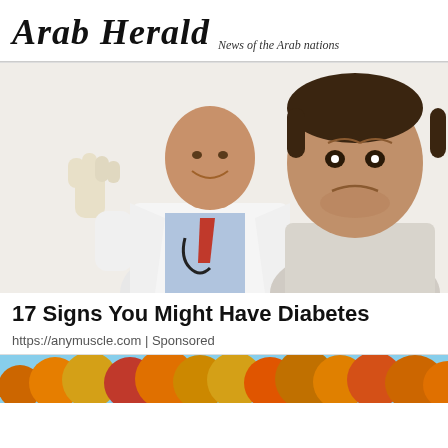Arab Herald — News of the Arab nations
[Figure (photo): A smiling bald doctor in white coat with stethoscope wearing latex gloves, alongside a worried-looking man in a hospital gown.]
17 Signs You Might Have Diabetes
https://anymuscle.com | Sponsored
[Figure (photo): Autumn forest scene with orange and yellow foliage trees.]